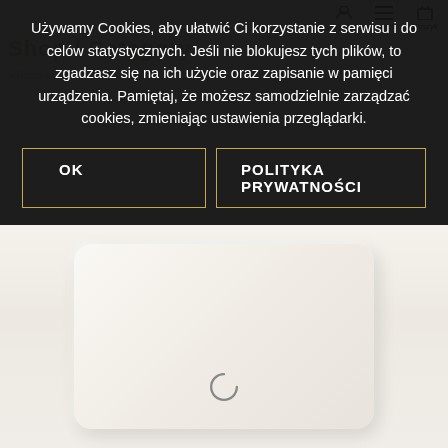[Figure (screenshot): Website screenshot showing a cookie consent overlay on an e-commerce site selling decorative pillows. The overlay has dark background with Polish text about cookies and two buttons: OK and POLITYKA PRYWATNOŚCI. Below the overlay is a product photo of a beige decorative pillow cover with a loading spinner icon.]
Używamy Cookies, aby ułatwić Ci korzystanie z serwisu i do celów statystycznych. Jeśli nie blokujesz tych plików, to zgadzasz się na ich użycie oraz zapisanie w pamięci urządzenia. Pamiętaj, że możesz samodzielnie zarządzać cookies, zmieniając ustawienia przeglądarki.
OK
POLITYKA PRYWATNOŚCI
Poszewka dekoracyjne...5 cm